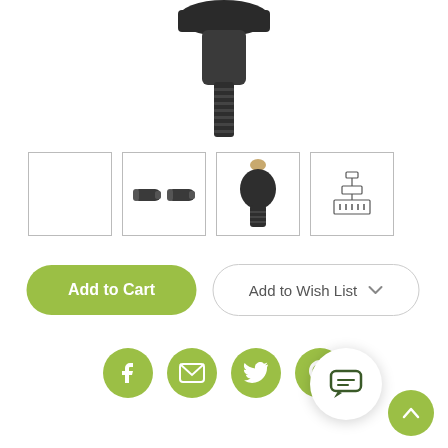[Figure (photo): Main product image: black industrial screw/ball head mount component with threaded shaft, viewed from above, partially cropped at top]
[Figure (photo): Thumbnail 1: empty white box with light border]
[Figure (photo): Thumbnail 2: two black cylindrical rod/pin components side by side]
[Figure (photo): Thumbnail 3: black ball-head mount with tan/wood colored top screw]
[Figure (photo): Thumbnail 4: small schematic/icon of product structure on white background]
Add to Cart
Add to Wish List
[Figure (infographic): Social sharing icons row: Facebook, Email/Envelope, Twitter, Pinterest — all olive/green circular icons]
[Figure (infographic): Chat support bubble button (white circle with dark green chat icon) and scroll-to-top button (green circle with up arrow)]